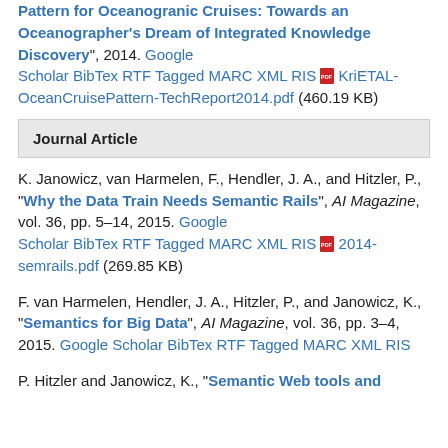Pattern for Oceanogranic Cruises: Towards an Oceanographer's Dream of Integrated Knowledge Discovery", 2014. Google Scholar BibTex RTF Tagged MARC XML RIS [PDF] KriETAL-OceanCruisePattern-TechReport2014.pdf (460.19 KB)
Journal Article
K. Janowicz, van Harmelen, F., Hendler, J. A., and Hitzler, P., "Why the Data Train Needs Semantic Rails", AI Magazine, vol. 36, pp. 5–14, 2015. Google Scholar BibTex RTF Tagged MARC XML RIS [PDF] 2014-semrails.pdf (269.85 KB)
F. van Harmelen, Hendler, J. A., Hitzler, P., and Janowicz, K., "Semantics for Big Data", AI Magazine, vol. 36, pp. 3–4, 2015. Google Scholar BibTex RTF Tagged MARC XML RIS
P. Hitzler and Janowicz, K., "Semantic Web tools and systems" ...